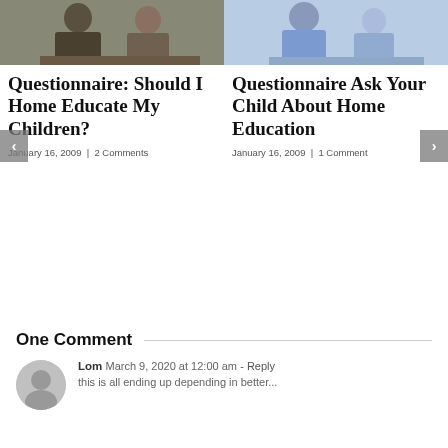[Figure (photo): Photo of two adults (man and woman) sitting at a table, cropped to show upper bodies, muted tones — left card image]
[Figure (photo): Photo of a mother and child at a desk, light blue tones — right card image]
Questionnaire: Should I Home Educate My Children?
January 16, 2009  |  2 Comments
Questionnaire Ask Your Child About Home Education
January 16, 2009  |  1 Comment
One Comment
Lom  March 9, 2020 at 12:00 am - Reply
this is all ending up depending in better…